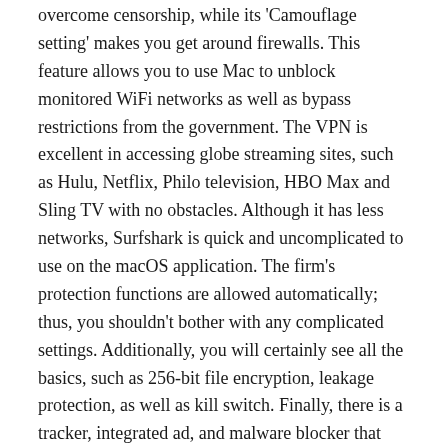overcome censorship, while its 'Camouflage setting' makes you get around firewalls. This feature allows you to use Mac to unblock monitored WiFi networks as well as bypass restrictions from the government. The VPN is excellent in accessing globe streaming sites, such as Hulu, Netflix, Philo television, HBO Max and Sling TV with no obstacles. Although it has less networks, Surfshark is quick and uncomplicated to use on the macOS application. The firm's protection functions are allowed automatically; thus, you shouldn't bother with any complicated settings. Additionally, you will certainly see all the basics, such as 256-bit file encryption, leakage protection, as well as kill switch. Finally, there is a tracker, integrated ad, and malware blocker that protects from phishing.
Final thought
The key concept of a VPN is that it allows you to conceal when